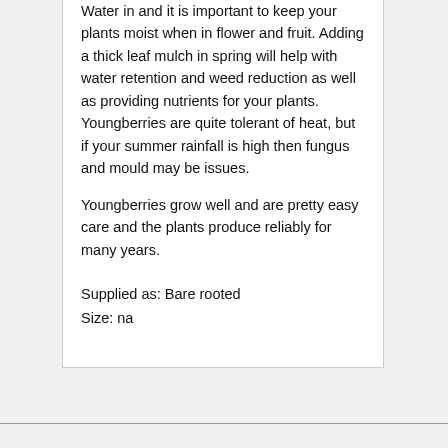Water in and it is important to keep your plants moist when in flower and fruit. Adding a thick leaf mulch in spring will help with water retention and weed reduction as well as providing nutrients for your plants. Youngberries are quite tolerant of heat, but if your summer rainfall is high then fungus and mould may be issues.
Youngberries grow well and are pretty easy care and the plants produce reliably for many years.
Supplied as: Bare rooted
Size: na